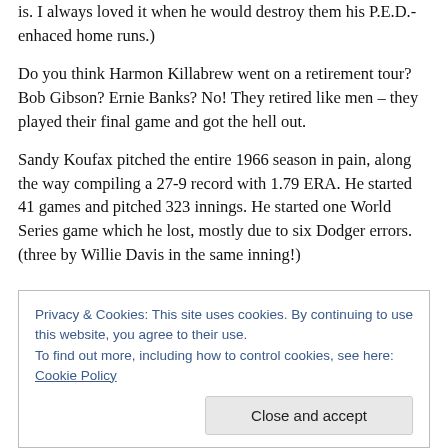is.  I always loved it when he would destroy them his P.E.D.-enhaced home runs.)
Do you think Harmon Killabrew went on a retirement tour?  Bob Gibson?  Ernie Banks?  No!  They retired like men – they played their final game and got the hell out.
Sandy Koufax pitched the entire 1966 season in pain, along the way compiling a 27-9 record with 1.79 ERA.  He started 41 games and pitched 323 innings.  He started one World Series game which he lost, mostly due to six Dodger errors.  (three by Willie Davis in the same inning!)
Privacy & Cookies: This site uses cookies. By continuing to use this website, you agree to their use.
To find out more, including how to control cookies, see here: Cookie Policy
Close and accept